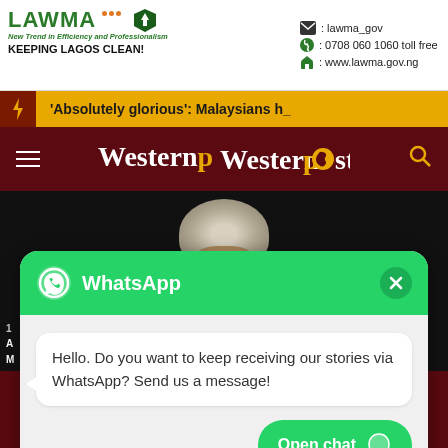[Figure (photo): LAWMA advertisement banner with logo, contact info (lawma_gov, 0708 060 1060 toll free, www.lawma.gov.ng), tagline 'KEEPING LAGOS CLEAN!' and photo of workers in orange uniforms]
'Absolutely glorious': Malaysians h_
[Figure (logo): Westernpost logo on dark maroon navigation bar with hamburger menu and search icon]
[Figure (screenshot): WhatsApp popup widget with green header showing WhatsApp logo and title, message bubble saying 'Hello. Do you want to keep receiving our stories via WhatsApp? Send us a message!' and Open chat button]